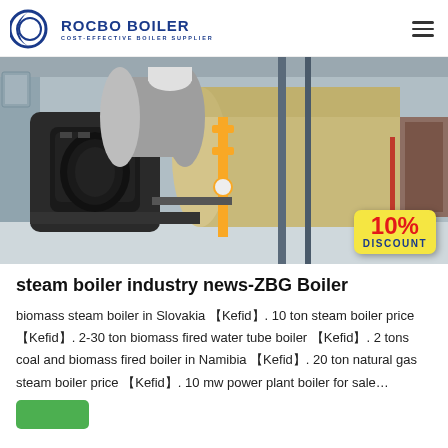ROCBO BOILER COST-EFFECTIVE BOILER SUPPLIER
[Figure (photo): Industrial steam boiler equipment in a facility, showing a large horizontal boiler tank and associated machinery, with a yellow gas pipe in the foreground. A '10% DISCOUNT' badge is overlaid in the bottom-right corner.]
steam boiler industry news-ZBG Boiler
biomass steam boiler in Slovakia 【Kefid】. 10 ton steam boiler price 【Kefid】. 2-30 ton biomass fired water tube boiler 【Kefid】. 2 tons coal and biomass fired boiler in Namibia 【Kefid】. 20 ton natural gas steam boiler price 【Kefid】. 10 mw power plant boiler for sale…